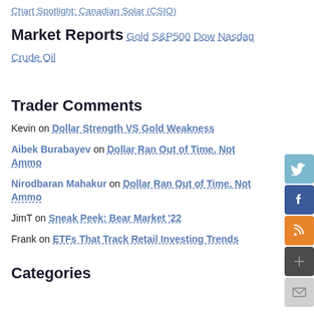Chart Spotlight: Canadian Solar (CSIQ)
Market Reports
Gold
S&P500
Dow
Nasdaq
Crude Oil
Trader Comments
Kevin on Dollar Strength VS Gold Weakness
Aibek Burabayev on Dollar Ran Out of Time, Not Ammo
Nirodbaran Mahakur on Dollar Ran Out of Time, Not Ammo
JimT on Sneak Peek: Bear Market '22
Frank on ETFs That Track Retail Investing Trends
Categories